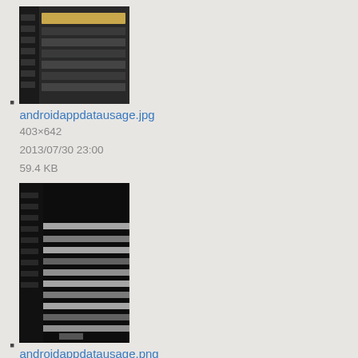androidappdatausage.jpg
403×642
2013/07/30 23:00
59.4 KB
androidappdatausage.png
1199×1863
2014/10/01 15:48
105.1 KB
androidcellulardata.jpg